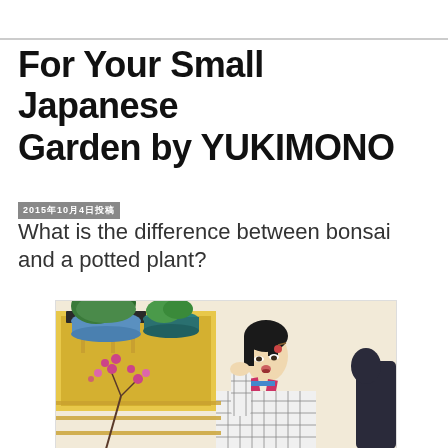For Your Small Japanese Garden by YUKIMONO
2015年10月4日投稿
What is the difference between bonsai and a potted plant?
[Figure (illustration): Japanese ukiyo-e woodblock print showing a woman in a checkered kimono looking at bonsai/potted plants on a stand, in traditional Japanese art style]